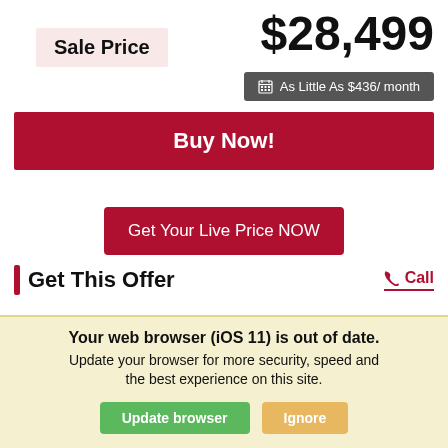Sale Price
$28,499
As Little As $436/ month
Buy Now!
Get Your Live Price NOW
Get This Offer
Call
*First Name
*Last Name
*Email
Your web browser (iOS 11) is out of date. Update your browser for more security, speed and the best experience on this site.
Update browser
Ignore